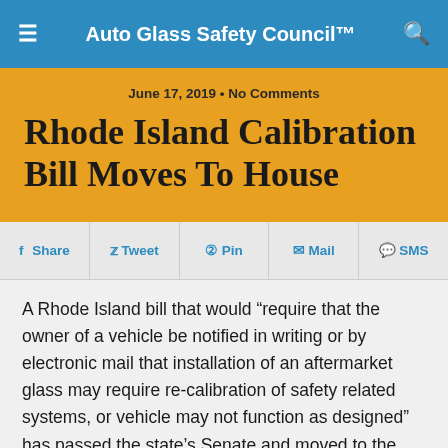Auto Glass Safety Council™
June 17, 2019 • No Comments
Rhode Island Calibration Bill Moves To House
f Share   Tweet   Pin   Mail   SMS
A Rhode Island bill that would "require that the owner of a vehicle be notified in writing or by electronic mail that installation of an aftermarket glass may require re-calibration of safety related systems, or vehicle may not function as designed" has passed the state's Senate and moved to the House.